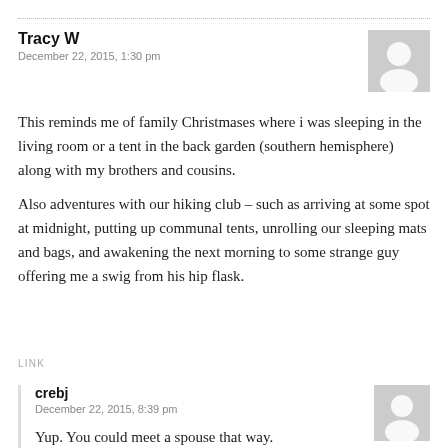Tracy W
December 22, 2015, 1:30 pm
This reminds me of family Christmases where i was sleeping in the living room or a tent in the back garden (southern hemisphere) along with my brothers and cousins.
Also adventures with our hiking club – such as arriving at some spot at midnight, putting up communal tents, unrolling our sleeping mats and bags, and awakening the next morning to some strange guy offering me a swig from his hip flask.
LINK
crebj
December 22, 2015, 8:39 pm
Yup. You could meet a spouse that way.